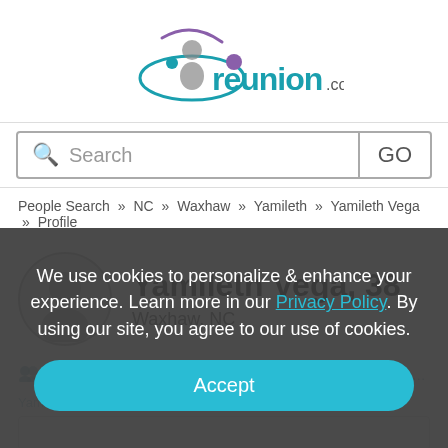[Figure (logo): reunion.com logo with teal and purple figure/orbit graphic and 'reunion.com' text]
Search   GO
People Search » NC » Waxhaw » Yamileth » Yamileth Vega » Profile
Yamileth Vega, 38
Waxhaw, NC
Yamileth R Vega, Gonzales Yamileth Rocio Vega, Yamileth Rocio Vega Gonzalez
We use cookies to personalize & enhance your experience. Learn more in our Privacy Policy. By using our site, you agree to our use of cookies.
Accept